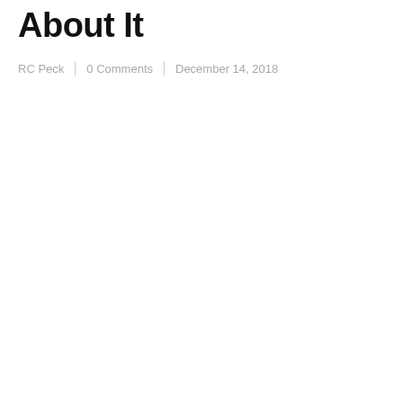About It
RC Peck | 0 Comments | December 14, 2018